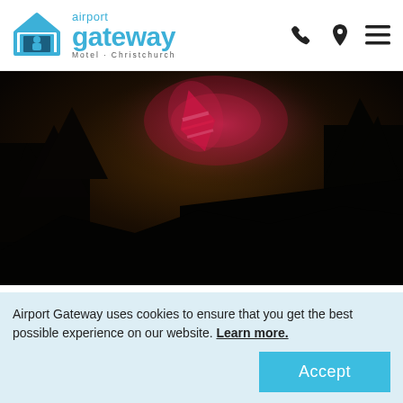[Figure (logo): Airport Gateway Motel Christchurch logo with house icon in blue]
[Figure (photo): Dark nighttime photo showing silhouette of trees and a illuminated kite or object with red/pink stripes against a dark sky]
Explore the Universe at the Canterbury Astronomical Society's observatory in West Melton. Members of the society will be on hand to help unlock the secrets of
Airport Gateway uses cookies to ensure that you get the best possible experience on our website. Learn more.